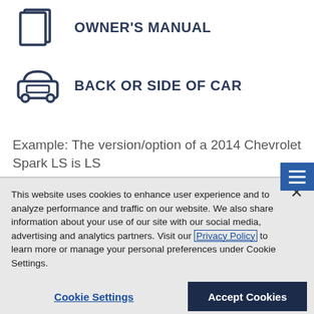OWNER'S MANUAL
BACK OR SIDE OF CAR
Example: The version/option of a 2014 Chevrolet Spark LS is LS
This website uses cookies to enhance user experience and to analyze performance and traffic on our website. We also share information about your use of our site with our social media, advertising and analytics partners. Visit our Privacy Policy to learn more or manage your personal preferences under Cookie Settings.
Cookie Settings
Accept Cookies